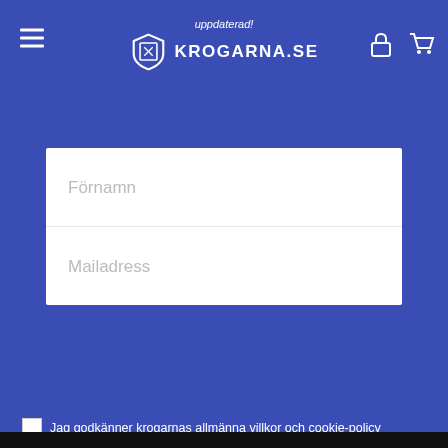uppdaterad! KROGARNA.SE
Förnamn
Mailadress
Jag godkänner krogarnas allmänna villkor och cookie-policy
Gå med